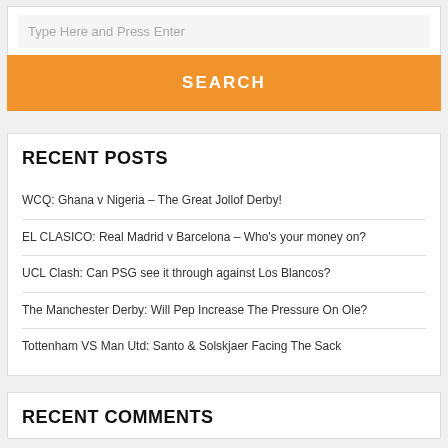Type Here and Press Enter
SEARCH
RECENT POSTS
WCQ: Ghana v Nigeria – The Great Jollof Derby!
EL CLASICO: Real Madrid v Barcelona – Who's your money on?
UCL Clash: Can PSG see it through against Los Blancos?
The Manchester Derby: Will Pep Increase The Pressure On Ole?
Tottenham VS Man Utd: Santo & Solskjaer Facing The Sack
RECENT COMMENTS